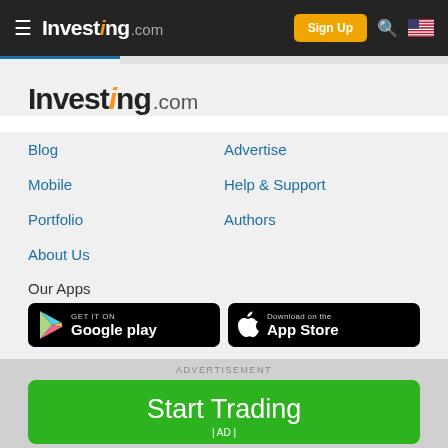Investing.com | Sign Up
[Figure (logo): Investing.com large logo with orange stylized 'i']
Blog
Advertise
Mobile
Help & Support
Portfolio
Authors
About Us
Our Apps
[Figure (other): Google Play store download button (black rounded rectangle)]
[Figure (other): Apple App Store download button (black rounded rectangle)]
ADVERTISEMENT
Start Trading | AD |